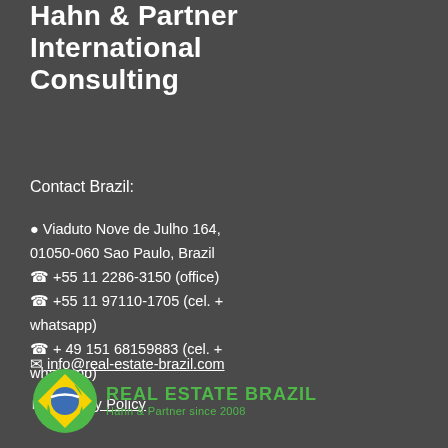Hahn & Partner International Consulting
Contact Brazil:
📍Viaduto Nove de Julho 164, 01050-060 Sao Paulo, Brazil
📞 +55 11 2286-3150 (office)
📞 +55 11 97110-1705 (cel. + whatsapp)
📞 + 49 151 68159883 (cel. + whatsapp)
✉ info@real-estate-brazil.com
► Privacy Policy
[Figure (logo): Real Estate Brazil logo with Brazil map silhouette in green and yellow with blue circle, and text 'Real Estate Brazil - Hahn & Partner since 2008']